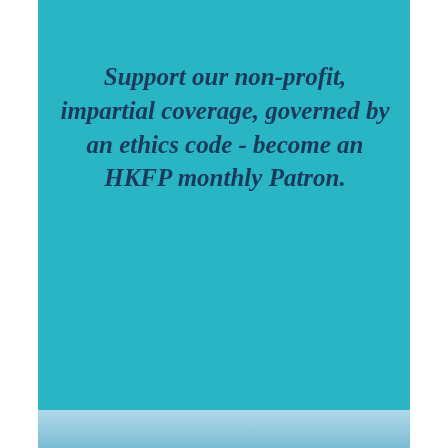Support our non-profit, impartial coverage, governed by an ethics code - become an HKFP monthly Patron.
[Figure (logo): Payment method logos: VISA, UnionPay, Mastercard, American Express, PayPal, FPS, Apple Pay, Google Pay, Tap&Go, Octopus, PayMe, Bank Transfer, Flattr]
Privacy & Cookies: This site uses cookies. By continuing to use this website, you agree to their use.
To find out more, including how to control cookies, see here: Cookie Policy
Close and accept